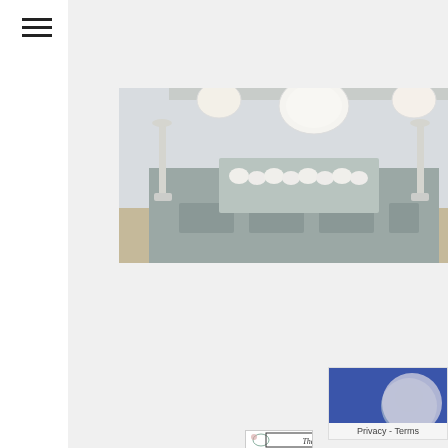[Figure (photo): Photo of a decorative sideboard/console table with white pumpkins in a wooden tray, flanked by candlesticks and dishes on a shelf above]
| Article Name | How to Create a Plate Wall |
| Description | Follow our quick guide to creating your own plate wall. We take a look at several different options so you can easily create a plate wall or gallery wall in no time! |
| Author | The Design Twins |
| Publisher Name | The Design Twins |
| Publisher Logo | [The Design Twins logo image] |
[Figure (logo): The Design Twins publisher logo with floral wreath and script lettering]